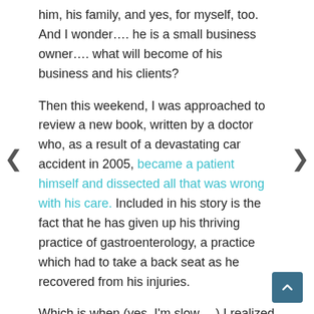him, his family, and yes, for myself, too. And I wonder…. he is a small business owner…. what will become of his business and his clients?
Then this weekend, I was approached to review a new book, written by a doctor who, as a result of a devastating car accident in 2005, became a patient himself and dissected all that was wrong with his care. Included in his story is the fact that he has given up his thriving practice of gastroenterology, a practice which had to take a back seat as he recovered from his injuries.
Which is when (yes, I'm slow….) I realized that the universe was telling me something. Or at least posing this question: As advocates, as people who others rely on, how prepared are WE for devastation in our lives and, importantly, how that will affect THEM?